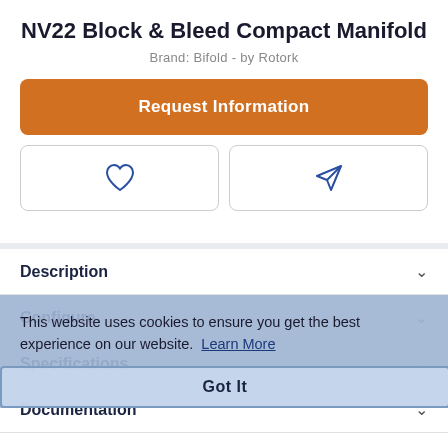NV22 Block & Bleed Compact Manifold
Brand: Bifold - by Rotork
Request Information
[Figure (illustration): Heart/wishlist icon button (outline heart, blue) and send/share icon button (paper plane, blue) side by side in bordered rounded boxes]
Description
Configure
Specifications
Documentation
This website uses cookies to ensure you get the best experience on our website.  Learn More
Got It